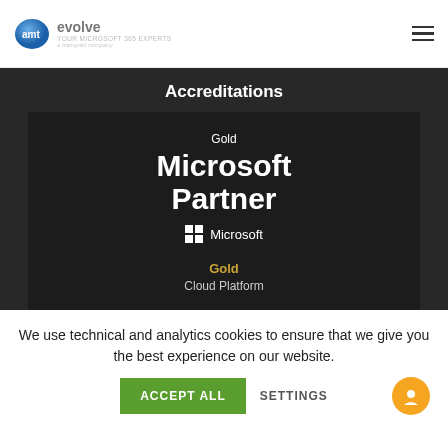[Figure (logo): amt evolve logo - blue sphere with 'amt' text, 'evolve' in grey, tagline 'YOUR MICROSOFT 365 EXPERTS', subtitle 'a transpact company']
Accreditations
[Figure (logo): Gold Microsoft Partner badge with Windows logo and Microsoft wordmark. Below: Gold Cloud Platform]
We use technical and analytics cookies to ensure that we give you the best experience on our website.
ACCEPT ALL   SETTINGS